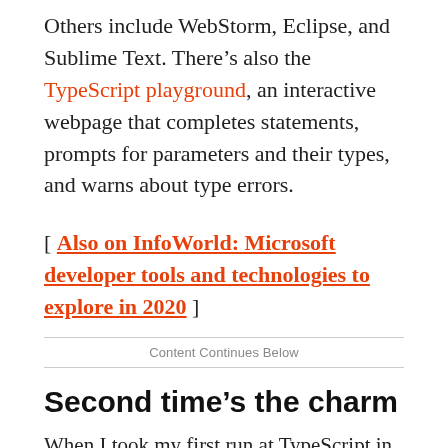Others include WebStorm, Eclipse, and Sublime Text. There’s also the TypeScript playground, an interactive webpage that completes statements, prompts for parameters and their types, and warns about type errors.
[ Also on InfoWorld: Microsoft developer tools and technologies to explore in 2020 ]
Content Continues Below
Second time’s the charm
When I took my first run at TypeScript in 2013, I